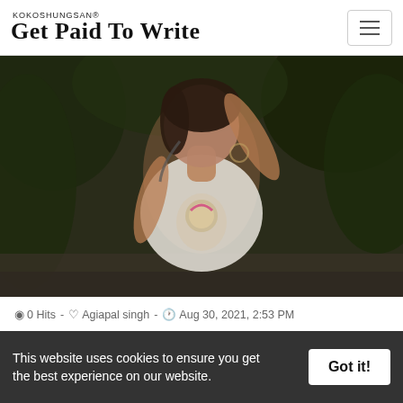KOKOSHUNGSAN® Get Paid To Write
[Figure (photo): Young woman wearing a white t-shirt with a cartoon character, listening to music with headphones on head, outdoors with dark greenery background]
0 Hits - Agiapal singh - Aug 30, 2021, 2:53 PM
TTHE TREES
This website uses cookies to ensure you get the best experience on our website.